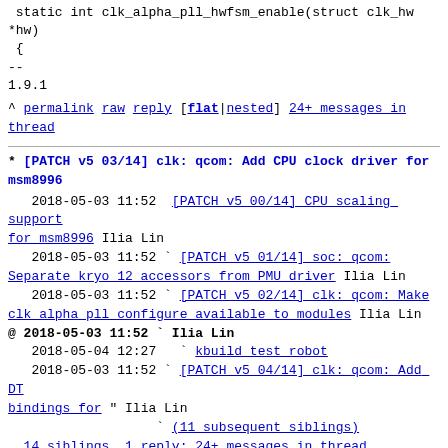static int clk_alpha_pll_hwfsm_enable(struct clk_hw *hw)
{
--
1.9.1
^ permalink raw reply [flat|nested] 24+ messages in thread
* [PATCH v5 03/14] clk: qcom: Add CPU clock driver for msm8996
2018-05-03 11:52 [PATCH v5 00/14] CPU scaling support for msm8996 Ilia Lin
  2018-05-03 11:52 ` [PATCH v5 01/14] soc: qcom: Separate kryo 12 accessors from PMU driver Ilia Lin
  2018-05-03 11:52 ` [PATCH v5 02/14] clk: qcom: Make clk alpha pll configure available to modules Ilia Lin
@ 2018-05-03 11:52 ` Ilia Lin
  2018-05-04 12:27   ` kbuild test robot
  2018-05-03 11:52 ` [PATCH v5 04/14] clk: qcom: Add DT bindings for " Ilia Lin
                   ` (11 subsequent siblings)
  14 siblings, 1 reply; 24+ messages in thread
From: Ilia Lin @ 2018-05-03 11:52 UTC (permalink / raw)
  To: mturquette, sboyd, robh, mark.rutland, rjw, viresh.kumar,
        lgirdwood, broonie, andy.gross, david.brown, catalin.marinas,